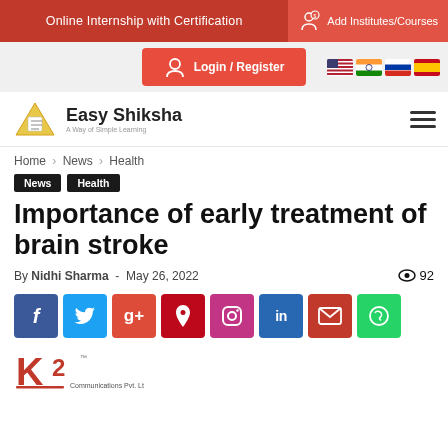Online Internship with Certification | Add Institutes/Courses
[Figure (screenshot): Login/Register button and country flag icons (US, India, Russia, Spain)]
[Figure (logo): Easy Shiksha logo with book icon and tagline 'A Way of Simple Learning']
Home › News › Health
News  Health
Importance of early treatment of brain stroke
By Nidhi Sharma - May 26, 2022   92
[Figure (infographic): Social sharing buttons: Facebook, Twitter, Google+, Pinterest, Instagram, LinkedIn, Email, WhatsApp]
[Figure (logo): K2 Communications Pvt. Ltd. logo]